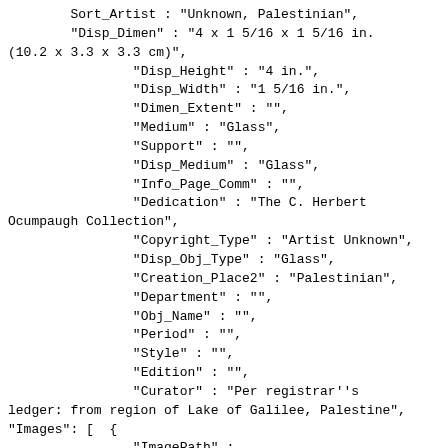Sort_Artist : "Unknown, Palestinian",
"Disp_Dimen" : "4 x 1 5/16 x 1 5/16 in. (10.2 x 3.3 x 3.3 cm)",
"Disp_Height" : "4 in.",
"Disp_Width" : "1 5/16 in.",
"Dimen_Extent" : "",
"Medium" : "Glass",
"Support" : "",
"Disp_Medium" : "Glass",
"Info_Page_Comm" : "",
"Dedication" : "The C. Herbert Ocumpaugh Collection",
"Copyright_Type" : "Artist Unknown",
"Disp_Obj_Type" : "Glass",
"Creation_Place2" : "Palestinian",
"Department" : "",
"Obj_Name" : "",
"Period" : "",
"Style" : "",
"Edition" : "",
"Curator" : "Per registrar&#39;&#39;s ledger: from region of Lake of Galilee, Palestine",
"Images": [  {
"ImagePath" :
"https://webkiosk.gallerysystems.com/Media/images/28.56_A1.jpg",
"ThumbnailPath" :
"https://webkiosk.gallerysystems.com/Media/Thumbnails/28.56_A1.jpg",
"PreviewPath" :
"https://webkiosk.gallerysystems.com/Media/Preview/28.